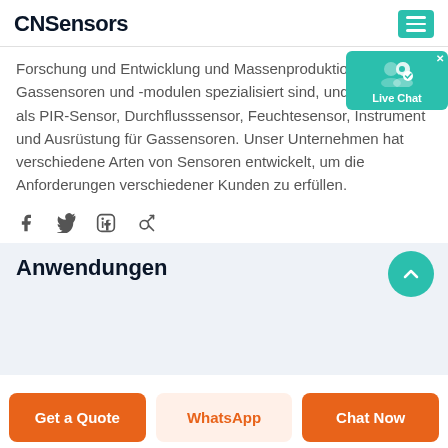CNSensors
Forschung und Entwicklung und Massenproduktion von Gassensoren und -modulen spezialisiert sind, und andere Sensoren als PIR-Sensor, Durchflusssensor, Feuchtesensor, Instrument und Ausrüstung für Gassensoren. Unser Unternehmen hat verschiedene Arten von Sensoren entwickelt, um die Anforderungen verschiedener Kunden zu erfüllen.
[Figure (other): Live Chat widget with user icon and 'Live Chat' label on teal background]
[Figure (other): Social media icons row: Facebook, Twitter, LinkedIn, Pinterest]
Anwendungen
[Figure (other): Teal circular scroll-up button]
Get a Quote
WhatsApp
Chat Now